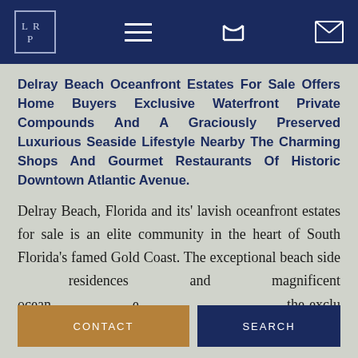LRP logo, hamburger menu, phone icon, mail icon
Delray Beach Oceanfront Estates For Sale Offers Home Buyers Exclusive Waterfront Private Compounds And A Graciously Preserved Luxurious Seaside Lifestyle Nearby The Charming Shops And Gourmet Restaurants Of Historic Downtown Atlantic Avenue.
Delray Beach, Florida and its' lavish oceanfront estates for sale is an elite community in the heart of South Florida's famed Gold Coast. The exceptional beach side residences and magnificent ocean[front estates offer] the exclus[ivity and luxury a] steps
CONTACT
SEARCH